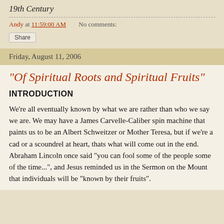19th Century
Andy at 11:59:00 AM    No comments:
Share
Friday, August 11, 2006
"Of Spiritual Roots and Spiritual Fruits"
INTRODUCTION
We’re all eventually known by what we are rather than who we say we are. We may have a James Carvelle-Caliber spin machine that paints us to be an Albert Schweitzer or Mother Teresa, but if we’re a cad or a scoundrel at heart, thats what will come out in the end. Abraham Lincoln once said "you can fool some of the people some of the time...", and Jesus reminded us in the Sermon on the Mount that individuals will be "known by their fruits".